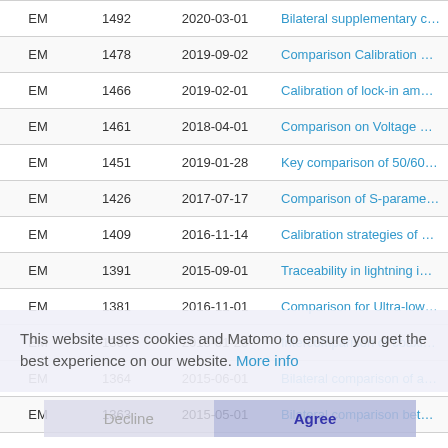| Type | Number | Date | Title |
| --- | --- | --- | --- |
| EM | 1492 | 2020-03-01 | Bilateral supplementary com… |
| EM | 1478 | 2019-09-02 | Comparison Calibration of R… |
| EM | 1466 | 2019-02-01 | Calibration of lock-in amplifie… |
| EM | 1461 | 2018-04-01 | Comparison on Voltage Refle… |
| EM | 1451 | 2019-01-28 | Key comparison of 50/60 Hz… |
| EM | 1426 | 2017-07-17 | Comparison of S-parameter… |
| EM | 1409 | 2016-11-14 | Calibration strategies of a du… |
| EM | 1391 | 2015-09-01 | Traceability in lightning impu… |
| EM | 1381 | 2016-11-01 | Comparison for Ultra-low DC… |
| EM | 1367 | 2015-01-26 | Intercomparison of coaxial m… |
| EM | 1364 | 2015-06-01 | Bilateral comparison of a DC… |
| EM | 1363 | 2015-05-01 | Bilateral comparison betwee… |
This website uses cookies and Matomo to ensure you get the best experience on our website. More info
Decline   Agree